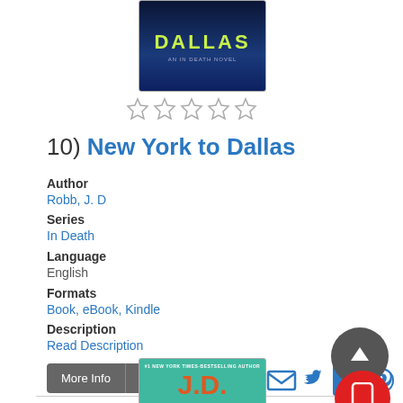[Figure (photo): Book cover for 'New York to Dallas' - dark blue background with 'DALLAS' in green/yellow text and 'AN IN DEATH NOVEL' subtitle]
[Figure (other): 5 empty/outline star rating icons]
10) New York to Dallas
Author
Robb, J. D
Series
In Death
Language
English
Formats
Book, eBook, Kindle
Description
Read Description
More Info   Add to list
[Figure (photo): Book cover for a J.D. Robb novel - teal/green background with orange J.D. ROBB text]